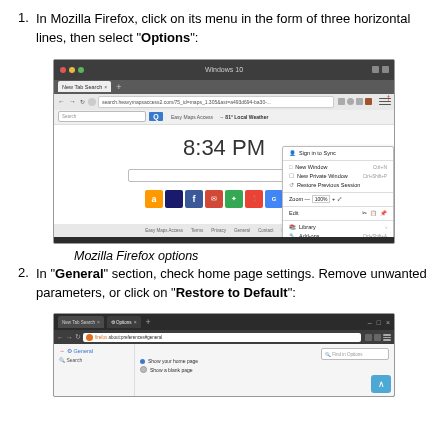In Mozilla Firefox, click on its menu in the form of three horizontal lines, then select "Options":
[Figure (screenshot): Screenshot of Mozilla Firefox browser window showing the browser menu open with Options highlighted by a red arrow]
Mozilla Firefox options
In "General" section, check home page settings. Remove unwanted parameters, or click on "Restore to Default":
[Figure (screenshot): Screenshot of Mozilla Firefox Options page showing General section with home page settings]